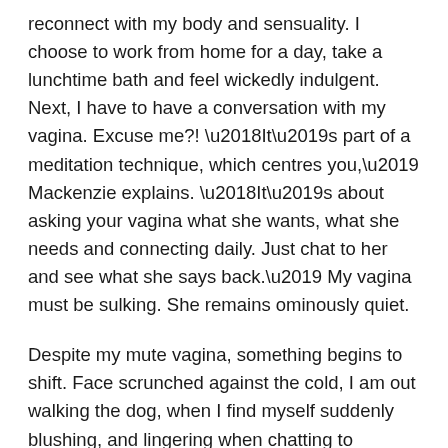reconnect with my body and sensuality. I choose to work from home for a day, take a lunchtime bath and feel wickedly indulgent. Next, I have to have a conversation with my vagina. Excuse me?! ‘It’s part of a meditation technique, which centres you,’ Mackenzie explains. ‘It’s about asking your vagina what she wants, what she needs and connecting daily. Just chat to her and see what she says back.’ My vagina must be sulking. She remains ominously quiet.
Despite my mute vagina, something begins to shift. Face scrunched against the cold, I am out walking the dog, when I find myself suddenly blushing, and lingering when chatting to another (rather handsome) dog walker. I haven’t seen him before and we end up giggling over our spaniels getting a little over-friendly.